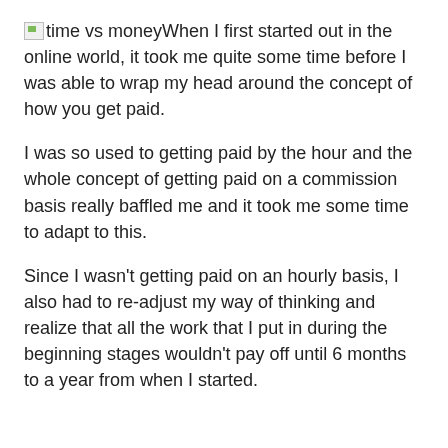[image: time vs money] When I first started out in the online world, it took me quite some time before I was able to wrap my head around the concept of how you get paid.
I was so used to getting paid by the hour and the whole concept of getting paid on a commission basis really baffled me and it took me some time to adapt to this.
Since I wasn't getting paid on an hourly basis, I also had to re-adjust my way of thinking and realize that all the work that I put in during the beginning stages wouldn't pay off until 6 months to a year from when I started.